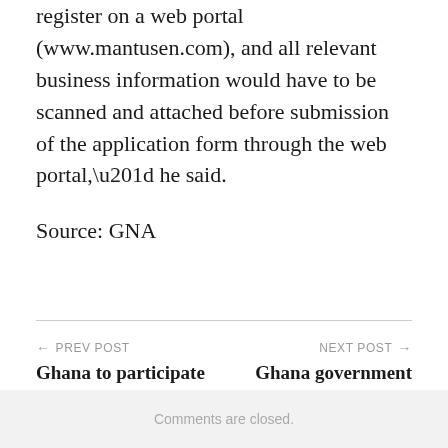register on a web portal (www.mantusen.com), and all relevant business information would have to be scanned and attached before submission of the application form through the web portal,” he said.
Source: GNA
← PREV POST
Ghana to participate in International Tourism Exchange Exhibition in Berlin
NEXT POST →
Ghana government gives GH¢1m to tourism sector
Comments are closed.